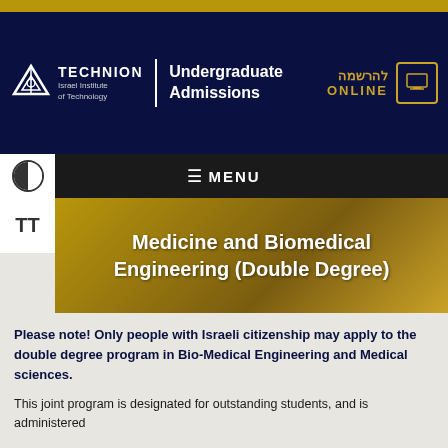[Figure (logo): Technion Israel Institute of Technology logo with menorah symbol, white on dark navy background, alongside 'Undergraduate Admissions' text and 'להרשמה ONLINE' registration link with laptop icon]
≡ MENU
Medicine and Biomedical Engineering (Double Degree)
Please note! Only people with Israeli citizenship may apply to the double degree program in Bio-Medical Engineering and Medical sciences.
This joint program is designated for outstanding students, and is administered